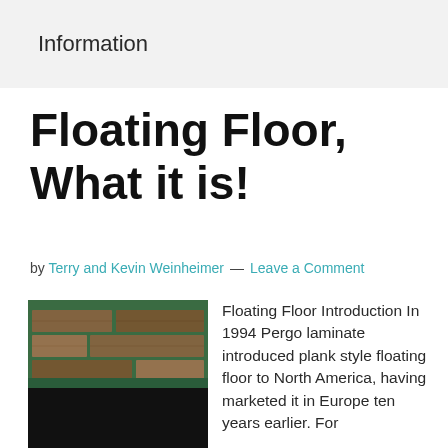Information
Floating Floor, What it is!
by Terry and Kevin Weinheimer — Leave a Comment
[Figure (photo): Photo of laminate floating floor planks over a dark background, with a green border strip visible]
Floating Floor Introduction In 1994 Pergo laminate introduced plank style floating floor to North America, having marketed it in Europe ten years earlier. For